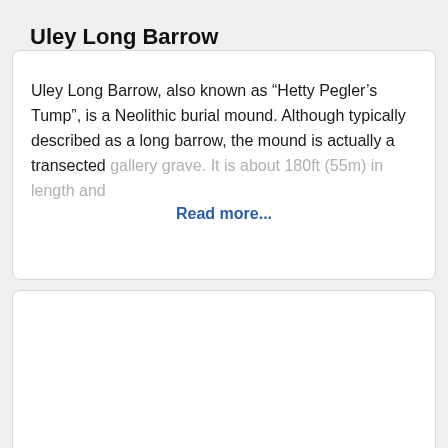Uley Long Barrow
Uley Long Barrow, also known as "Hetty Pegler’s Tump", is a Neolithic burial mound. Although typically described as a long barrow, the mound is actually a transected gallery grave. It is about 180ft (55m) in length and
Read more...
[Figure (other): Empty white card placeholder below the main content card]